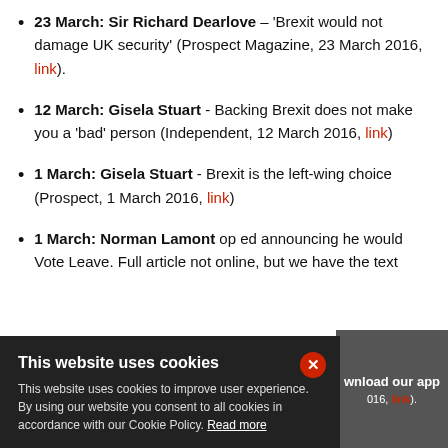23 March: Sir Richard Dearlove – 'Brexit would not damage UK security' (Prospect Magazine, 23 March 2016, link).
12 March: Gisela Stuart - Backing Brexit does not make you a 'bad' person (Independent, 12 March 2016, link)
1 March: Gisela Stuart - Brexit is the left-wing choice (Prospect, 1 March 2016, link)
1 March: Norman Lamont op ed announcing he would Vote Leave. Full article not online, but we have the text
[Figure (screenshot): Cookie consent overlay banner with dark background, title 'This website uses cookies', body text about cookie policy, red X close button, and partial app download banner on right side with link text visible.]